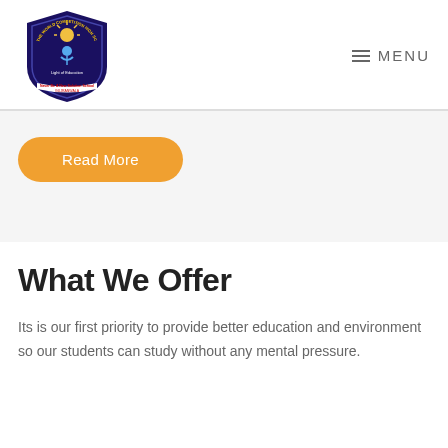[Figure (logo): The World Competition High School circular shield logo with dark blue/purple background, student figure, and school name text]
☰ MENU
Read More
What We Offer
Its is our first priority to provide better education and environment so our students can study without any mental pressure.